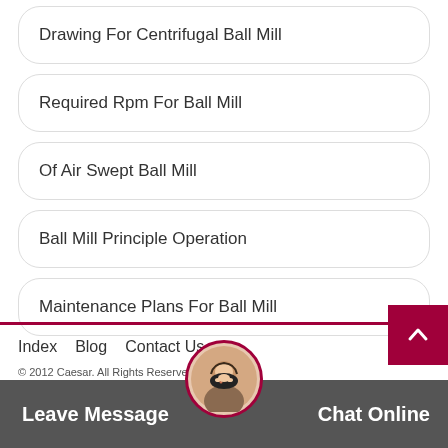Drawing For Centrifugal Ball Mill
Required Rpm For Ball Mill
Of Air Swept Ball Mill
Ball Mill Principle Operation
Maintenance Plans For Ball Mill
Index  Blog  Contact Us
© 2012 Caesar. All Rights Reserved  Sitemap
Leave Message    Chat Online